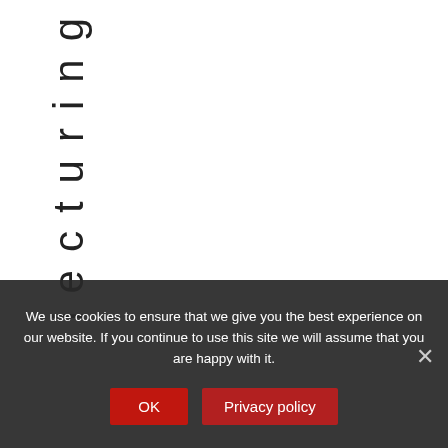is a lecturing
We use cookies to ensure that we give you the best experience on our website. If you continue to use this site we will assume that you are happy with it.
OK
Privacy policy